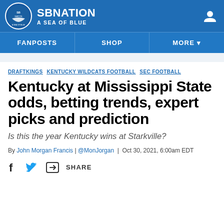SB NATION / A SEA OF BLUE
FANPOSTS  SHOP  MORE
DRAFTKINGS  KENTUCKY WILDCATS FOOTBALL  SEC FOOTBALL
Kentucky at Mississippi State odds, betting trends, expert picks and prediction
Is this the year Kentucky wins at Starkville?
By John Morgan Francis | @MonJorgan | Oct 30, 2021, 6:00am EDT
SHARE